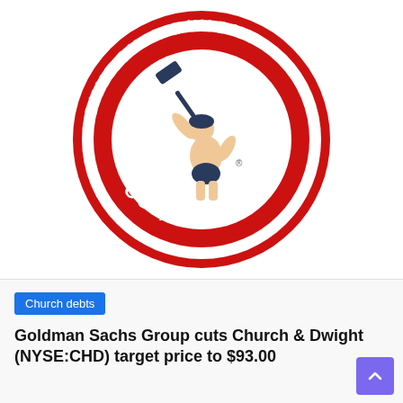[Figure (logo): Church & Dwight Co., Inc. circular logo — red ring with white text reading 'CHURCH & DWIGHT CO., INC.' around the border, and a figure of a muscular man holding a hammer in the center on a white background.]
Church debts
Goldman Sachs Group cuts Church & Dwight (NYSE:CHD) target price to $93.00